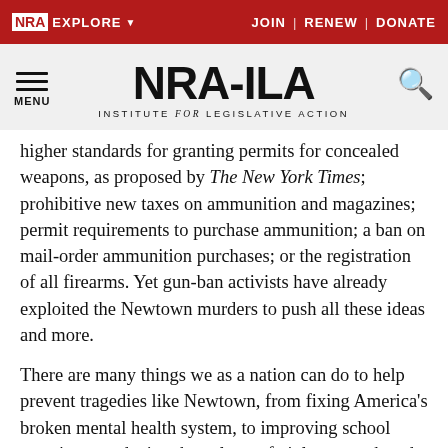NRA EXPLORE  JOIN | RENEW | DONATE
[Figure (logo): NRA-ILA Institute for Legislative Action logo with hamburger menu and search icon]
higher standards for granting permits for concealed weapons, as proposed by The New York Times; prohibitive new taxes on ammunition and magazines; permit requirements to purchase ammunition; a ban on mail-order ammunition purchases; or the registration of all firearms. Yet gun-ban activists have already exploited the Newtown murders to push all these ideas and more.
There are many things we as a nation can do to help prevent tragedies like Newtown, from fixing America’s broken mental health system, to improving school security, to reducing the culture of violence marketed to our kids, to prosecuting those who misuse firearms to commit crimes. In the challenging months ahead, your nra will need your full support in making sure that our elected officials think carefully before they cast any vote that will destroy our right to keep and bear arms.